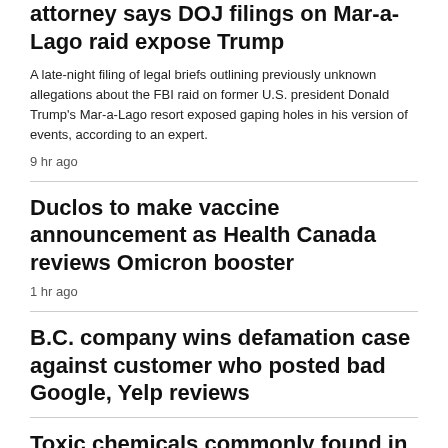attorney says DOJ filings on Mar-a-Lago raid expose Trump
A late-night filing of legal briefs outlining previously unknown allegations about the FBI raid on former U.S. president Donald Trump's Mar-a-Lago resort exposed gaping holes in his version of events, according to an expert.
9 hr ago
Duclos to make vaccine announcement as Health Canada reviews Omicron booster
1 hr ago
B.C. company wins defamation case against customer who posted bad Google, Yelp reviews
Toxic chemicals commonly found in dollar store items, testing shows